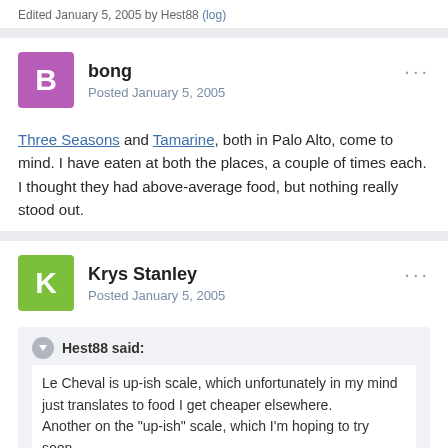Edited January 5, 2005 by Hest88 (log)
bong
Posted January 5, 2005
Three Seasons and Tamarine, both in Palo Alto, come to mind. I have eaten at both the places, a couple of times each. I thought they had above-average food, but nothing really stood out.
Krys Stanley
Posted January 5, 2005
Hest88 said:

Le Cheval is up-ish scale, which unfortunately in my mind just translates to food I get cheaper elsewhere.
Another on the "up-ish" scale, which I'm hoping to try soon,